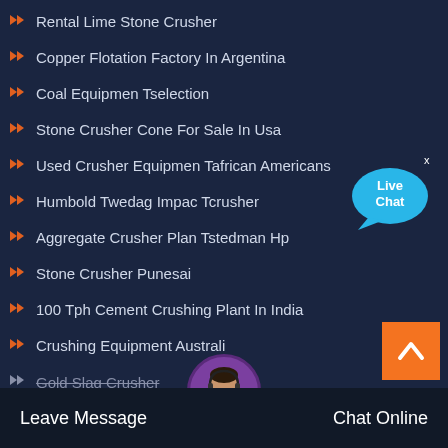Rental Lime Stone Crusher
Copper Flotation Factory In Argentina
Coal Equipmen Tselection
Stone Crusher Cone For Sale In Usa
Used Crusher Equipmen Tafrican Americans
Humbold Twedag Impac Tcrusher
Aggregate Crusher Plan Tstedman Hp
Stone Crusher Punesai
100 Tph Cement Crushing Plant In India
Crushing Equipment Australi
Gold Slag Crusher
[Figure (illustration): Live Chat speech bubble icon with 'Live Chat' text in blue]
[Figure (illustration): Orange back-to-top button with white upward chevron arrow]
[Figure (illustration): Female customer support avatar in circular frame at bottom center]
Leave Message   Chat Online